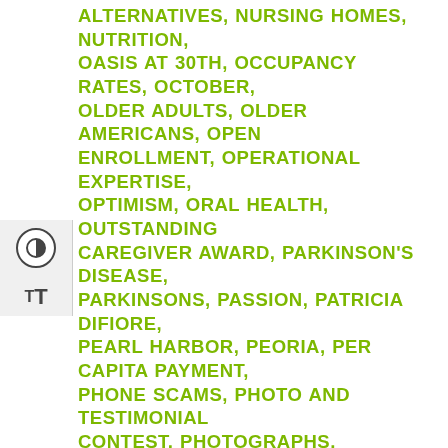ALTERNATIVES, NURSING HOMES, NUTRITION, OASIS AT 30TH, OCCUPANCY RATES, OCTOBER, OLDER ADULTS, OLDER AMERICANS, OPEN ENROLLMENT, OPERATIONAL EXPERTISE, OPTIMISM, ORAL HEALTH, OUTSTANDING CAREGIVER AWARD, PARKINSON'S DISEASE, PARKINSONS, PASSION, PATRICIA DIFIORE, PEARL HARBOR, PEORIA, PER CAPITA PAYMENT, PHONE SCAMS, PHOTO AND TESTIMONIAL CONTEST, PHOTOGRAPHS, PHYSICAL ACTIVITY, PJ BROSMITH, PLANNING, POLAR COASTER, POLAR VORTEX, POLIO, POLITICAL ADVOCACY, PORTFOLIO, POSITIVITY, PRAIRIE LIVING AT CHAUTAUQUA, PRAIRIE WINDS OF URBANA, PRESCRIPTION, PRESENTATIONS, PROFESSIONAL DEVELOPMENT, PROGRAM TO SPOTLIGHT, PROPERTIES, PURPOSE, QUALITY OF LIFE, RACHELLE BLOUGH, RANDI BELISOMO, READERS' CHOICE HONORS, REBRANDING, RECIPES,